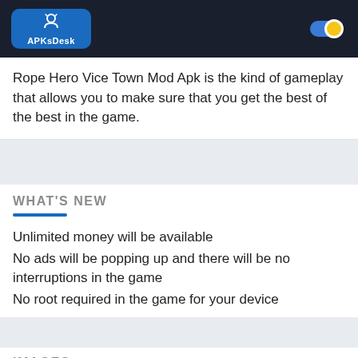APKsDesk
Rope Hero Vice Town Mod Apk is the kind of gameplay that allows you to make sure that you get the best of the best in the game.
WHAT'S NEW
Unlimited money will be available
No ads will be popping up and there will be no interruptions in the game
No root required in the game for your device
IMAGES